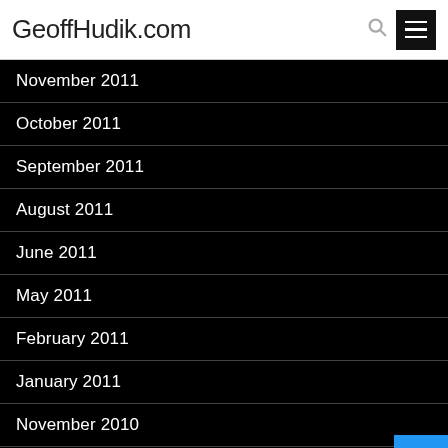GeoffHudik.com
November 2011
October 2011
September 2011
August 2011
June 2011
May 2011
February 2011
January 2011
November 2010
October 2010
August 2010